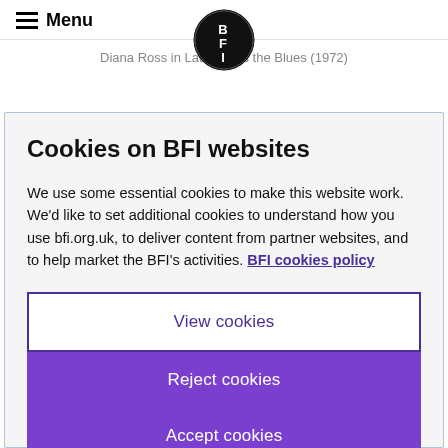≡ Menu | BFI logo
Diana Ross in Lady Sings the Blues (1972)
Cookies on BFI websites
We use some essential cookies to make this website work. We'd like to set additional cookies to understand how you use bfi.org.uk, to deliver content from partner websites, and to help market the BFI's activities. BFI cookies policy
View cookies
Reject cookies
Accept cookies